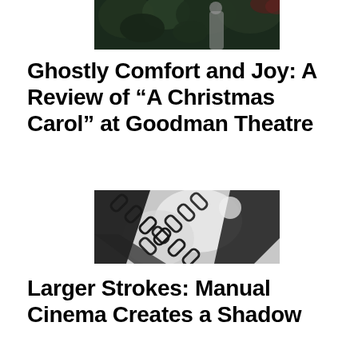[Figure (photo): Partial photo at top of page showing a figure in a light-colored dress standing among dark green foliage and plants]
Ghostly Comfort and Joy: A Review of “A Christmas Carol” at Goodman Theatre
[Figure (photo): Black and white photo showing heavy chains arranged in a cross or diagonal pattern against a light background with dramatic shadow contrast]
Larger Strokes: Manual Cinema Creates a Shadow